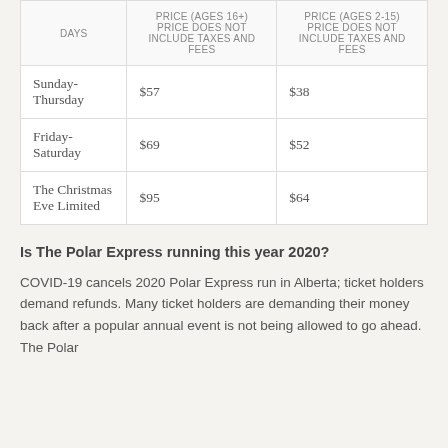| DAYS | PRICE (AGES 16+) PRICE DOES NOT INCLUDE TAXES AND FEES | PRICE (AGES 2-15) PRICE DOES NOT INCLUDE TAXES AND FEES |
| --- | --- | --- |
| Sunday-Thursday | $57 | $38 |
| Friday-Saturday | $69 | $52 |
| The Christmas Eve Limited | $95 | $64 |
Is The Polar Express running this year 2020?
COVID-19 cancels 2020 Polar Express run in Alberta; ticket holders demand refunds. Many ticket holders are demanding their money back after a popular annual event is not being allowed to go ahead. The Polar